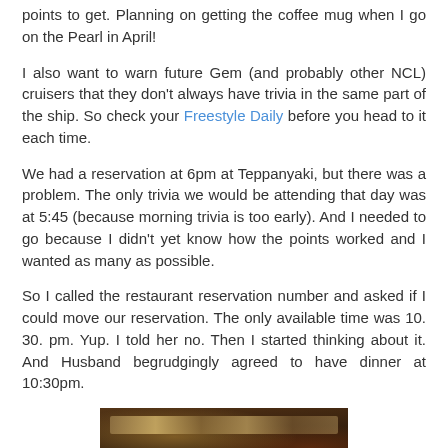points to get. Planning on getting the coffee mug when I go on the Pearl in April!
I also want to warn future Gem (and probably other NCL) cruisers that they don't always have trivia in the same part of the ship. So check your Freestyle Daily before you head to it each time.
We had a reservation at 6pm at Teppanyaki, but there was a problem. The only trivia we would be attending that day was at 5:45 (because morning trivia is too early). And I needed to go because I didn't yet know how the points worked and I wanted as many as possible.
So I called the restaurant reservation number and asked if I could move our reservation. The only available time was 10. 30. pm. Yup. I told her no. Then I started thinking about it. And Husband begrudgingly agreed to have dinner at 10:30pm.
[Figure (photo): Interior photo of Teppanyaki restaurant on a cruise ship, showing warm amber and brown tones with overhead lighting]